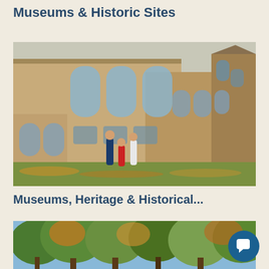Museums & Historic Sites
[Figure (photo): Family of three people walking in front of a large historic stone building with arched windows, surrounded by autumn foliage on the ground]
Museums, Heritage & Historical...
[Figure (photo): Outdoor scene with tall trees with autumn foliage against a blue sky]